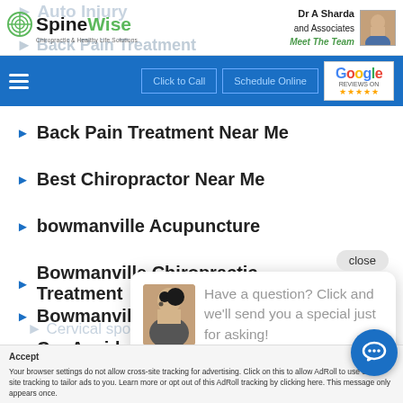[Figure (screenshot): SpineWise chiropractic website header with logo, doctor info, navigation bar, list of services/treatments, a chat popup overlay, and cookie consent bar at the bottom.]
SpineWise - Dr A Sharda and Associates - Meet The Team
Back Pain Treatment Near Me
Best Chiropractor Near Me
bowmanville Acupuncture
Bowmanville Chiropractic Treatment
Bowmanville [partially obscured]
Car Accident [partially obscured]
Carpel Tunnel Syndrome
Have a question? Click and we'll send you a special just for asking!
close
Cervical spondylosis
Accept  x  Your browser settings do not allow cross-site tracking for advertising. Click on this to allow AdRoll to use cross-site tracking to tailor ads to you. Learn more or opt out of this AdRoll tracking by clicking here. This message only appears once.